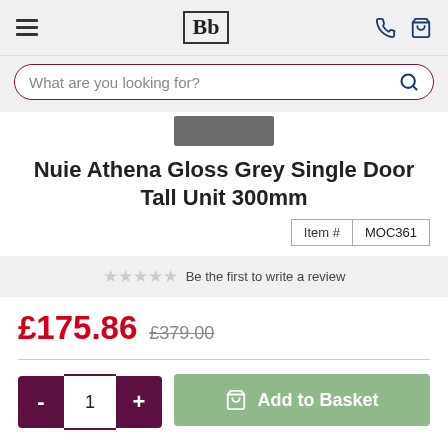Bb — navigation header with hamburger menu, logo, phone and basket icons
What are you looking for?
[Figure (other): Grey rectangular image placeholder/thumbnail strip]
Nuie Athena Gloss Grey Single Door Tall Unit 300mm
| Item # | MOC361 |
| --- | --- |
Be the first to write a review
£175.86  £379.00
- 1 +  Add to Basket